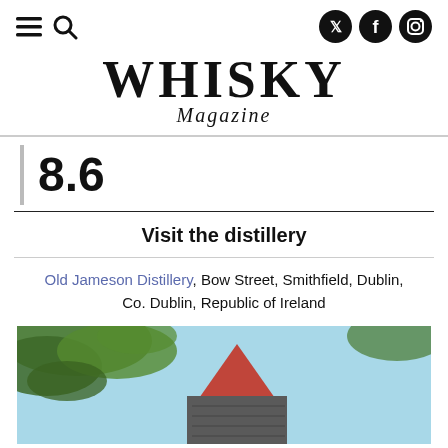Navigation icons and social media icons (Twitter, Facebook, Instagram)
WHISKY Magazine
8.6
Visit the distillery
Old Jameson Distillery, Bow Street, Smithfield, Dublin, Co. Dublin, Republic of Ireland
[Figure (photo): Photo of Old Jameson Distillery building exterior with a conical roof visible through tree leaves against a blue sky]